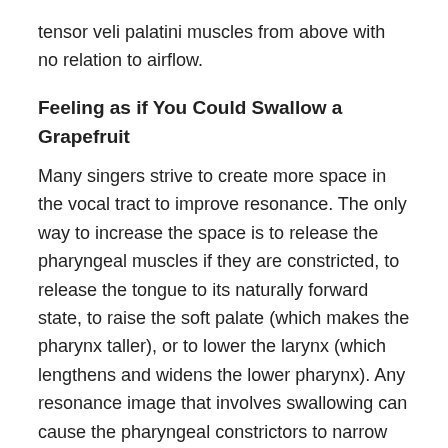tensor veli palatini muscles from above with no relation to airflow.
Feeling as if You Could Swallow a Grapefruit
Many singers strive to create more space in the vocal tract to improve resonance. The only way to increase the space is to release the pharyngeal muscles if they are constricted, to release the tongue to its naturally forward state, to raise the soft palate (which makes the pharynx taller), or to lower the larynx (which lengthens and widens the lower pharynx). Any resonance image that involves swallowing can cause the pharyngeal constrictors to narrow the throat and the tongue to push back. Also, as you saw in the video of the diva and the emcee, the size and shape of the throat changes constantly as we sing. Keeping at a